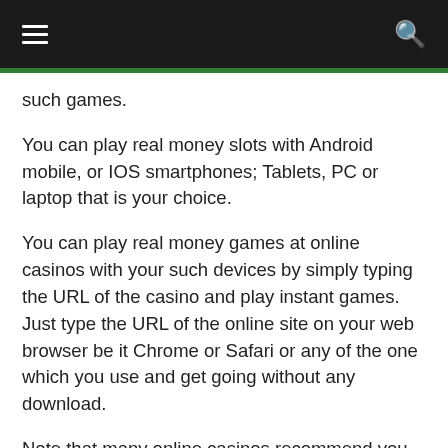Navigation bar with hamburger menu and search icon
such games.
You can play real money slots with Android mobile, or IOS smartphones; Tablets, PC or laptop that is your choice.
You can play real money games at online casinos with your such devices by simply typing the URL of the casino and play instant games. Just type the URL of the online site on your web browser be it Chrome or Safari or any of the one which you use and get going without any download.
Note that many online casinos recommend you to download the casino or their games apps on your Android or PC to enjoy the full suite of games. Like Live casinos are streamed from live studios to enjoy